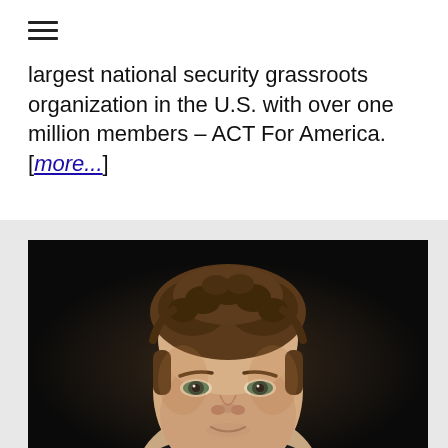≡
largest national security grassroots organization in the U.S. with over one million members – ACT For America. [more...]
[Figure (photo): Close-up photograph of a man with short curly brown hair, looking slightly downward, against a dark background.]